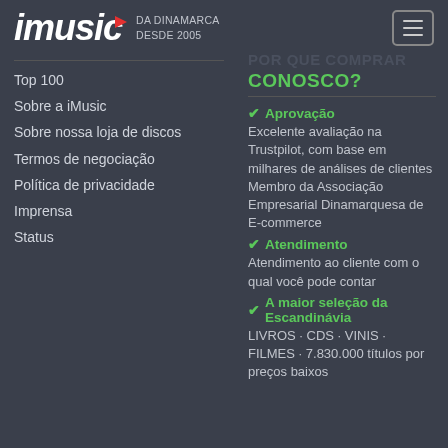imusic DA DINAMARCA DESDE 2005
Top 100
Sobre a iMusic
Sobre nossa loja de discos
Termos de negociação
Política de privacidade
Imprensa
Status
CONOSCO?
✔ Aprovação
Excelente avaliação na Trustpilot, com base em milhares de análises de clientes Membro da Associação Empresarial Dinamarquesa de E-commerce
✔ Atendimento
Atendimento ao cliente com o qual você pode contar
✔ A maior seleção da Escandinávia
LIVROS · CDS · VINIS · FILMES · 7.830.000 títulos por preços baixos